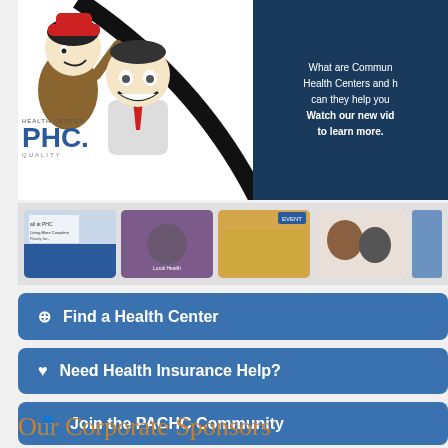[Figure (screenshot): Banner image with cartoon characters (woman and man with red hat), HEALTH CENTER PHC logo, curved black design element, and dark blue panel on right with text about Community Health Centers]
What are Community Health Centers and how can they help you? Watch our new video to learn more.
[Figure (screenshot): Row of thumbnail images showing health center related content]
Find a Health Center
Need Health Insurance Help?
Join the PACHC Community
Our Corporate Sponsors